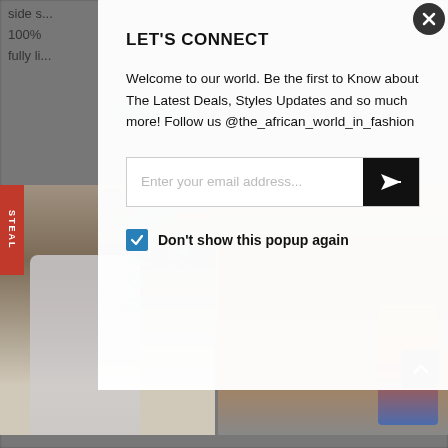side s...
100%
fully li...
[Figure (screenshot): Background page with fashion product images on a wooden background, showing partial text 'STEAL', watermark text 'THE dream WORLD' in teal/blue script, and 'U S' in large black letters]
LET'S CONNECT
Welcome to our world. Be the first to Know about The Latest Deals, Styles Updates and so much more! Follow us @the_african_world_in_fashion
Enter your email address...
Don't show this popup again